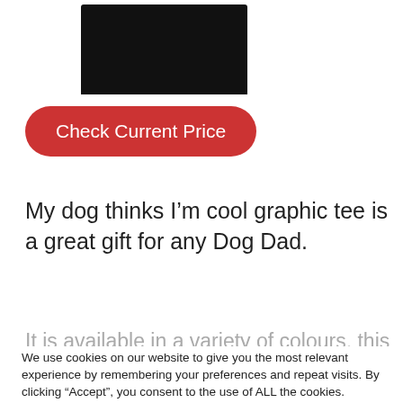[Figure (photo): Bottom portion of a black graphic tee shirt product image, showing the lower part of the shirt against a white background]
Check Current Price
My dog thinks I’m cool graphic tee is a great gift for any Dog Dad.
It is available in a variety of colours, this
We use cookies on our website to give you the most relevant experience by remembering your preferences and repeat visits. By clicking “Accept”, you consent to the use of ALL the cookies.
Do not sell my personal information.
Cookie settings
ACCEPT